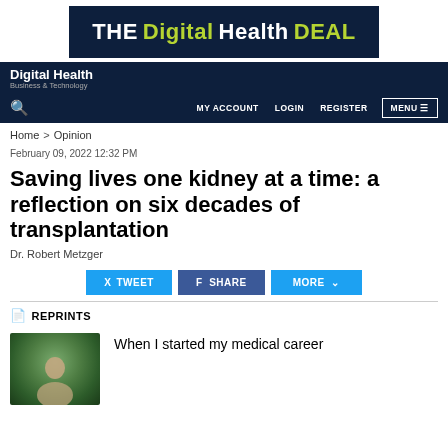[Figure (logo): The Digital Health DEAL banner advertisement with dark navy background]
Digital Health Business & Technology — navigation bar with MY ACCOUNT, LOGIN, REGISTER, MENU links
Home > Opinion
February 09, 2022 12:32 PM
Saving lives one kidney at a time: a reflection on six decades of transplantation
Dr. Robert Metzger
TWEET  SHARE  MORE
REPRINTS
When I started my medical career